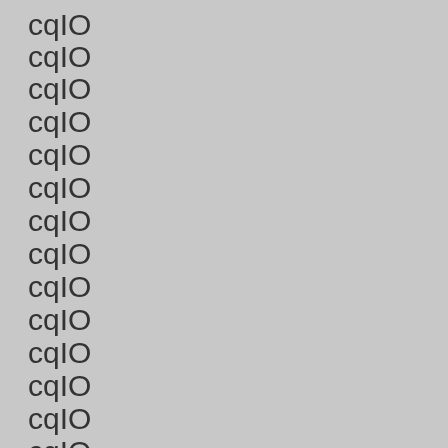cqIO
cqIO
cqIO
cqIO
cqIO
cqIO
cqIO
cqIO
cqIO
cqIO
cqIO
cqIO
cqIO
cqIO